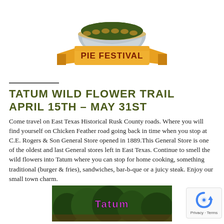[Figure (illustration): Pie Festival banner/logo: a pie dish with green filling on top, with a golden ribbon banner underneath reading 'PIE FESTIVAL' in dark red bold letters]
TATUM WILD FLOWER TRAIL APRIL 15TH – MAY 31ST
Come travel on East Texas Historical Rusk County roads. Where you will find yourself on Chicken Feather road going back in time when you stop at C.E. Rogers & Son General Store opened in 1889.This General Store is one of the oldest and last General stores left in East Texas. Continue to smell the wild flowers into Tatum where you can stop for home cooking, something traditional (burger & fries), sandwiches, bar-b-que or a juicy steak. Enjoy our small town charm.
[Figure (photo): Photo of Tatum with trees and a sign or banner reading 'Tatum']